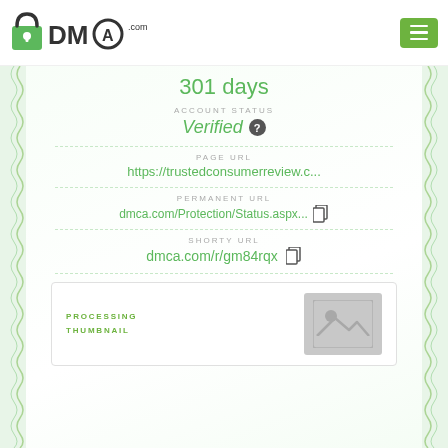[Figure (logo): DMCA.com logo with padlock icon]
301 days
ACCOUNT STATUS
Verified
PAGE URL
https://trustedconsumerreview.c...
PERMANENT URL
dmca.com/Protection/Status.aspx...
SHORTY URL
dmca.com/r/gm84rqx
PROCESSING THUMBNAIL